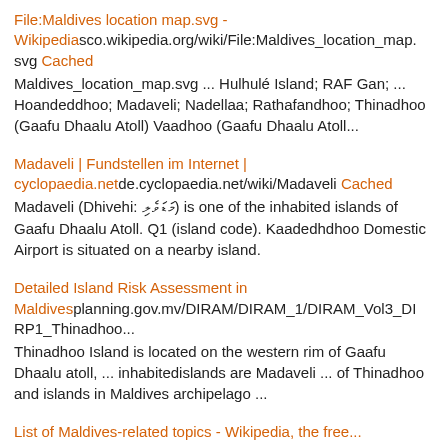File:Maldives location map.svg - Wikipediasco.wikipedia.org/wiki/File:Maldives_location_map.svg Cached
Maldives_location_map.svg ... Hulhulé Island; RAF Gan; ... Hoandeddhoo; Madaveli; Nadellaa; Rathafandhoo; Thinadhoo (Gaafu Dhaalu Atoll) Vaadhoo (Gaafu Dhaalu Atoll...
Madaveli | Fundstellen im Internet | cyclopaedia.netde.cyclopaedia.net/wiki/Madaveli Cached
Madaveli (Dhivehi: މަޑަވެލި) is one of the inhabited islands of Gaafu Dhaalu Atoll. Q1 (island code). Kaadedhdhoo Domestic Airport is situated on a nearby island.
Detailed Island Risk Assessment in Maldivesplanning.gov.mv/DIRAM/DIRAM_1/DIRAM_Vol3_DIRP1_Thinadhoo...
Thinadhoo Island is located on the western rim of Gaafu Dhaalu atoll, ... inhabitedislands are Madaveli ... of Thinadhoo and islands in Maldives archipelago ...
List of Maldives-related topics - Wikipedia, the free...